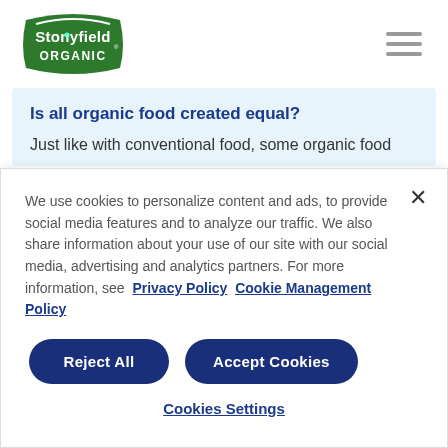[Figure (logo): Stonyfield Organic logo - green banner with white text reading 'Stonyfield' and 'ORGANIC' below]
Is all organic food created equal?
Just like with conventional food, some organic food
We use cookies to personalize content and ads, to provide social media features and to analyze our traffic. We also share information about your use of our site with our social media, advertising and analytics partners. For more information, see  Privacy Policy  Cookie Management Policy
Reject All
Accept Cookies
Cookies Settings